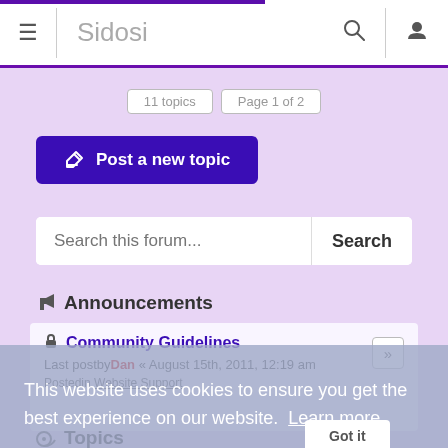Sidosi
[Figure (screenshot): Page buttons row showing '11 topics' and 'Page 1 of 2' partially visible]
Post a new topic
Search this forum...
Announcements
Community Guidelines
Last postby Dan « August 15th, 2011, 12:19 am
Posted in Website Support
This website uses cookies to ensure you get the best experience on our website. Learn more
Topics
Solresol Grammar Guide: 2018
Last postby Misolsi Misido « July 31st, 2018, 8:13 pm